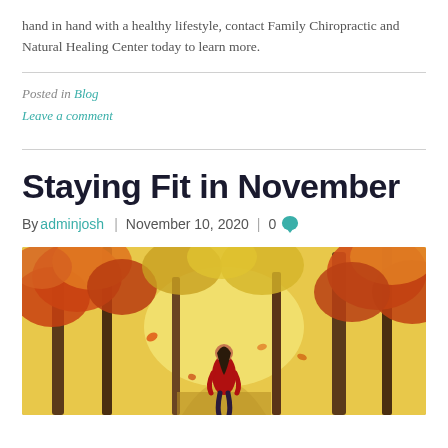hand in hand with a healthy lifestyle, contact Family Chiropractic and Natural Healing Center today to learn more.
Posted in Blog
Leave a comment
Staying Fit in November
By adminjosh | November 10, 2020 | 0
[Figure (photo): A person in a red jacket walking through an autumn forest path with colorful orange and yellow foliage on trees]